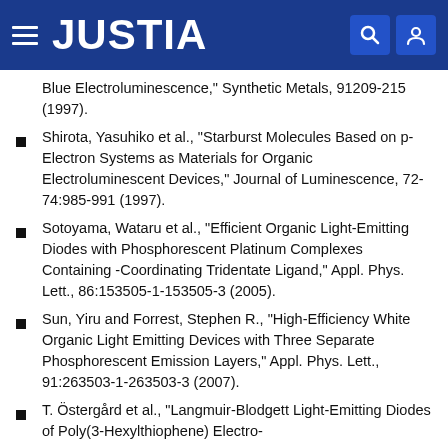JUSTIA
Blue Electroluminescence," Synthetic Metals, 91209-215 (1997).
Shirota, Yasuhiko et al., "Starburst Molecules Based on p-Electron Systems as Materials for Organic Electroluminescent Devices," Journal of Luminescence, 72-74:985-991 (1997).
Sotoyama, Wataru et al., "Efficient Organic Light-Emitting Diodes with Phosphorescent Platinum Complexes Containing -Coordinating Tridentate Ligand," Appl. Phys. Lett., 86:153505-1-153505-3 (2005).
Sun, Yiru and Forrest, Stephen R., "High-Efficiency White Organic Light Emitting Devices with Three Separate Phosphorescent Emission Layers," Appl. Phys. Lett., 91:263503-1-263503-3 (2007).
T. Östergård et al., "Langmuir-Blodgett Light-Emitting Diodes of Poly(3-Hexylthiophene) Electro-